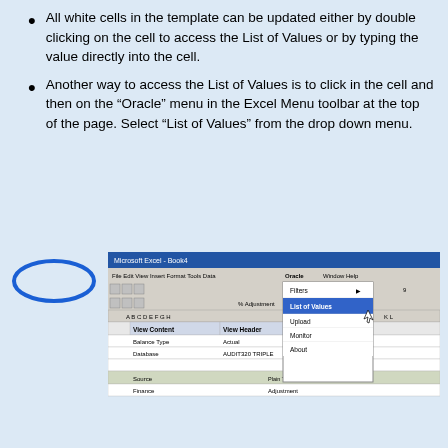All white cells in the template can be updated either by double clicking on the cell to access the List of Values or by typing the value directly into the cell.
Another way to access the List of Values is to click in the cell and then on the “Oracle” menu in the Excel Menu toolbar at the top of the page. Select “List of Values” from the drop down menu.
[Figure (screenshot): Screenshot of Microsoft Excel - Book4 showing the Oracle menu open with options: Filters, List of Values (highlighted), Upload, Monitor, About. The spreadsheet shows columns A-L with rows containing View Content and View Header headers, and data rows for Balance Type (Actual), Database, and Source fields. A blue oval is drawn to the left highlighting the Oracle menu location.]